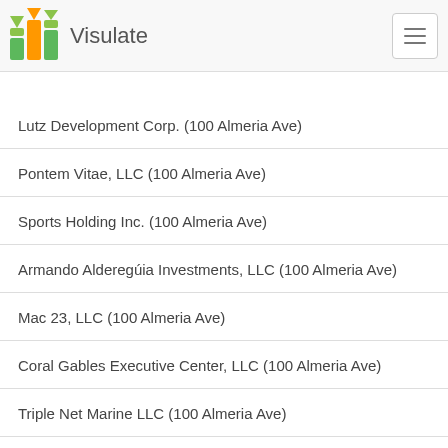Visulate
Lutz Development Corp. (100 Almeria Ave)
Pontem Vitae, LLC (100 Almeria Ave)
Sports Holding Inc. (100 Almeria Ave)
Armando Alderegúia Investments, LLC (100 Almeria Ave)
Mac 23, LLC (100 Almeria Ave)
Coral Gables Executive Center, LLC (100 Almeria Ave)
Triple Net Marine LLC (100 Almeria Ave)
Tivoli 430 LLC (100 Almeria Ave)
Gables Edge Properties LLC (100 Almeria Ave)